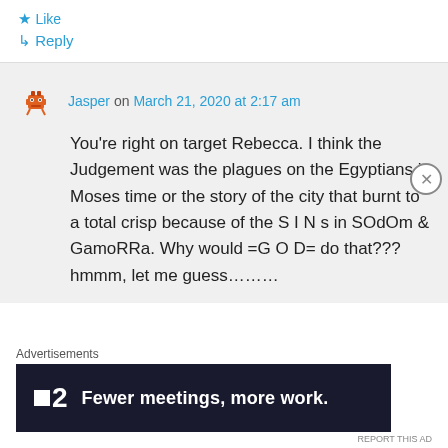★ Like
↳ Reply
Jasper on March 21, 2020 at 2:17 am
You're right on target Rebecca. I think the Judgement was the plagues on the Egyptians in Moses time or the story of the city that burnt to a total crisp because of the S I N s in SOdOm & GamoRRa. Why would =G O D= do that??? hmmm, let me guess………
Advertisements
[Figure (other): Advertisement banner: dark background with logo showing a small square and '2', text reads 'Fewer meetings, more work.']